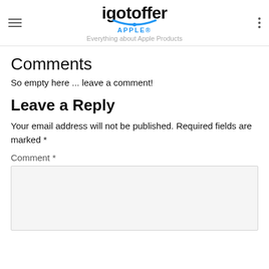igotoffer APPLE® — Everything about Apple Products
Comments
So empty here ... leave a comment!
Leave a Reply
Your email address will not be published. Required fields are marked *
Comment *